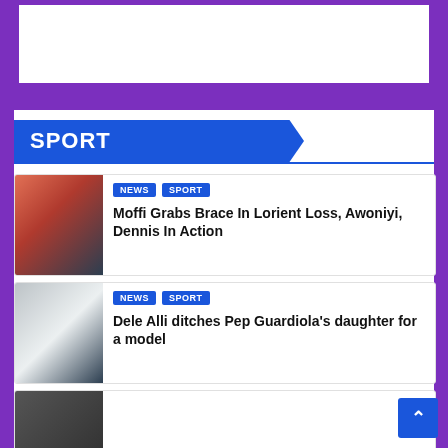[Figure (other): White advertisement banner area at top of page]
SPORT
Moffi Grabs Brace In Lorient Loss, Awoniyi, Dennis In Action
Dele Alli ditches Pep Guardiola's daughter for a model